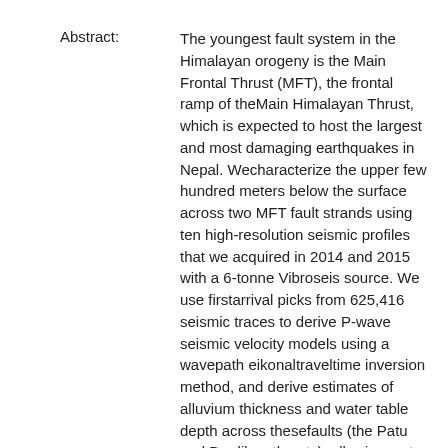Abstract: The youngest fault system in the Himalayan orogeny is the Main Frontal Thrust (MFT), the frontal ramp of theMain Himalayan Thrust, which is expected to host the largest and most damaging earthquakes in Nepal. Wecharacterize the upper few hundred meters below the surface across two MFT fault strands using ten high-resolution seismic profiles that we acquired in 2014 and 2015 with a 6-tonne Vibroseis source. We use firstarrival picks from 625,416 seismic traces to derive P-wave seismic velocity models using a wavepath eikonaltraveltime inversion method, and derive estimates of alluvium thickness and water table depth across thesefaults (the Patu and Bardibas thrusts), allowing us to constrain the subsurface geometry of the MFT.Our results show that 1) seismic velocities range from 255 to 3660 m/s, consistent with dry and saturatedalluvium, and Siwalik bedrock; 2) low-velocity